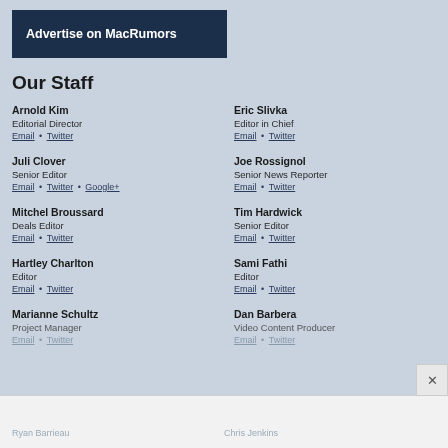[Figure (other): Advertise on MacRumors button banner]
Our Staff
Arnold Kim
Editorial Director
Email • Twitter
Eric Slivka
Editor in Chief
Email • Twitter
Juli Clover
Senior Editor
Email • Twitter • Google+
Joe Rossignol
Senior News Reporter
Email • Twitter
Mitchel Broussard
Deals Editor
Email • Twitter
Tim Hardwick
Senior Editor
Email • Twitter
Hartley Charlton
Editor
Email • Twitter
Sami Fathi
Editor
Email • Twitter
Marianne Schultz
Project Manager
Email • Twitter
Dan Barbera
Video Content Producer
Email • Twitter
Ryan Barrieau
Chris Jenkins